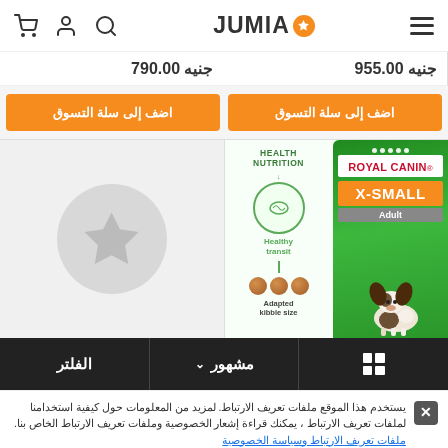JUMIA header with cart, user, search icons and hamburger menu
جنيه 955.00 | جنيه 790.00
اضف إلى سلة التسوق | اضف إلى سلة التسوق
[Figure (illustration): Left product card with Jumia star placeholder icon on grey background]
[Figure (photo): Royal Canin X-Small Adult dog food package with Health Nutrition, Healthy transit icon, kibble balls, and Adapted kibble size text on left; green package with red Royal Canin branding, orange X-Small label, grey Adult label and Papillon dog on right]
الفلتر | مشهور ∨ | grid icon
يستخدم هذا الموقع ملفات تعريف الارتباط. لمزيد من المعلومات حول كيفية استخدامنا لملفات تعريف الارتباط ، يمكنك قراءة إشعار الخصوصية وملفات تعريف الارتباط الخاص بنا. ملفات تعريف الارتباط وسياسة الخصوصية